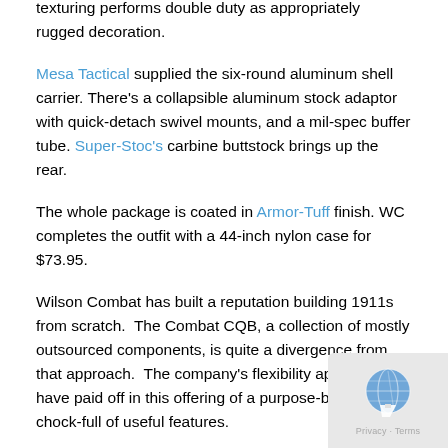texturing performs double duty as appropriately rugged decoration.
Mesa Tactical supplied the six-round aluminum shell carrier. There's a collapsible aluminum stock adaptor with quick-detach swivel mounts, and a mil-spec buffer tube. Super-Stoc's carbine buttstock brings up the rear.
The whole package is coated in Armor-Tuff finish. WC completes the outfit with a 44-inch nylon case for $73.95.
Wilson Combat has built a reputation building 1911s from scratch.  The Combat CQB, a collection of mostly outsourced components, is quite a divergence from that approach.  The company's flexibility appears to have paid off in this offering of a purpose-built 870, chock-full of useful features.
At $1,695, the Wilson Combat CQB Shotgun is priced